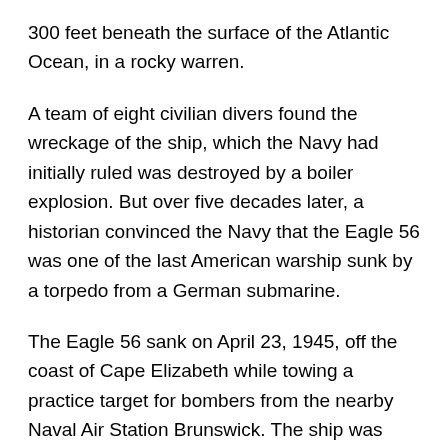300 feet beneath the surface of the Atlantic Ocean, in a rocky warren.
A team of eight civilian divers found the wreckage of the ship, which the Navy had initially ruled was destroyed by a boiler explosion. But over five decades later, a historian convinced the Navy that the Eagle 56 was one of the last American warship sunk by a torpedo from a German submarine.
The Eagle 56 sank on April 23, 1945, off the coast of Cape Elizabeth while towing a practice target for bombers from the nearby Naval Air Station Brunswick. The ship was part of a class of submarine chasers built by the Ford Motor Co. to combat German U-boats in World War I, but saw their first substantial action in World War II.